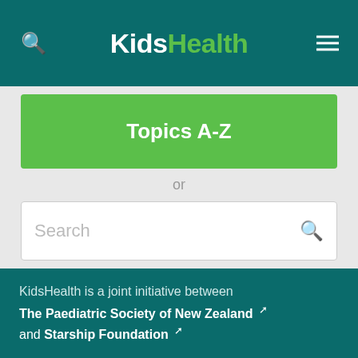KidsHealth
Topics A-Z
or
Search
KidsHealth is a joint initiative between The Paediatric Society of New Zealand and Starship Foundation